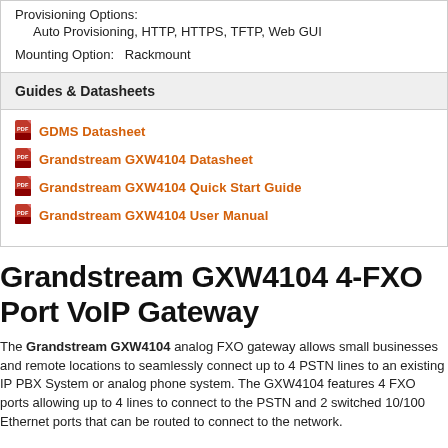Provisioning Options: Auto Provisioning, HTTP, HTTPS, TFTP, Web GUI
Mounting Option: Rackmount
Guides & Datasheets
GDMS Datasheet
Grandstream GXW4104 Datasheet
Grandstream GXW4104 Quick Start Guide
Grandstream GXW4104 User Manual
Grandstream GXW4104 4-FXO Port VoIP Gateway
The Grandstream GXW4104 analog FXO gateway allows small businesses and remote locations to seamlessly connect up to 4 PSTN lines to an existing IP PBX System or analog phone system. The GXW4104 features 4 FXO ports allowing up to 4 lines to connect to the PSTN and 2 switched 10/100 Ethernet ports that can be routed to connect to the network.